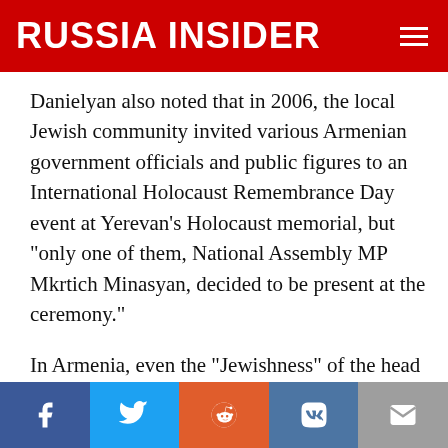RUSSIA INSIDER
Danielyan also noted that in 2006, the local Jewish community invited various Armenian government officials and public figures to an International Holocaust Remembrance Day event at Yerevan’s Holocaust memorial, but “only one of them, National Assembly MP Mkrtich Minasyan, decided to be present at the ceremony.”
In Armenia, even the “Jewishness” of the head of the Jewish community seems to be somewhat in dispute. Various experts have cited evidence and others have pondered
Social share buttons: Facebook, Twitter, Reddit, VK, Email